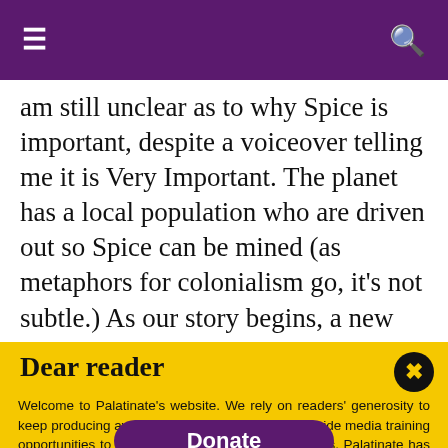≡  🔍
am still unclear as to why Spice is important, despite a voiceover telling me it is Very Important. The planet has a local population who are driven out so Spice can be mined (as metaphors for colonialism go, it's not subtle.) As our story begins, a new family takes control of Dune, bringing with them their mopey son (played by Timothée Chalamet). He has a strange
Dear reader
Welcome to Palatinate's website. We rely on readers' generosity to keep producing award-winning journalism and provide media training opportunities to our team of more than 150 students. Palatinate has produced some of the biggest names in British media, from Jeremy Vine to the late great Sir Harold Evans. Every contribution to Palatinate is an investment into the future of journalism.
Donate